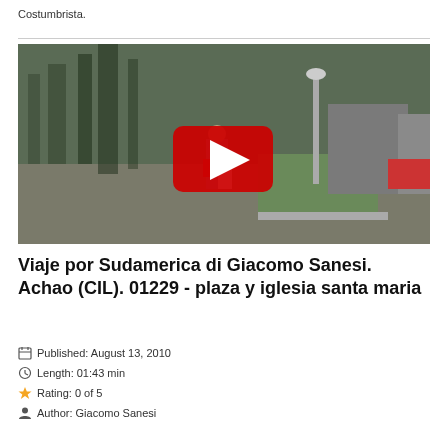Costumbrista.
[Figure (screenshot): Video thumbnail showing a town plaza with trees, street lamp, buildings, and a person walking. Red YouTube play button in the center.]
Viaje por Sudamerica di Giacomo Sanesi. Achao (CIL). 01229 - plaza y iglesia santa maria
Published: August 13, 2010
Length: 01:43 min
Rating: 0 of 5
Author: Giacomo Sanesi